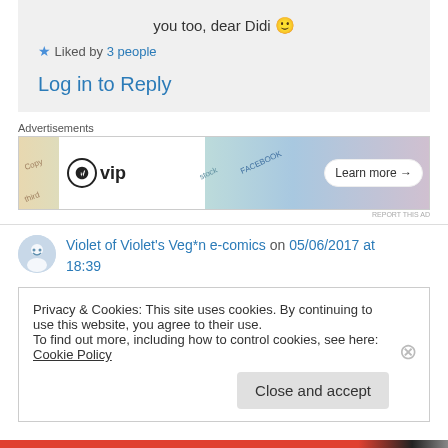you too, dear Didi 🙂
★ Liked by 3 people
Log in to Reply
Advertisements
[Figure (screenshot): WordPress VIP advertisement banner with Learn more button]
Violet of Violet's Veg*n e-comics on 05/06/2017 at 18:39
Privacy & Cookies: This site uses cookies. By continuing to use this website, you agree to their use.
To find out more, including how to control cookies, see here: Cookie Policy
Close and accept